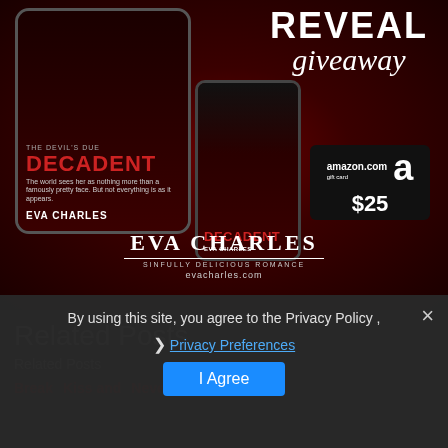[Figure (illustration): Book cover reveal giveaway banner for 'Decadent' by Eva Charles. Shows tablet and phone displaying the book cover, an Amazon.com gift card for $25, and the Eva Charles branding with evacharles.com URL. Red textured background with 'REVEAL giveaway' text in white.]
By using this site, you agree to the Privacy Policy ,
Privacy Preferences
I Agree
Related Posts
Related Posts
Break Kiss and Never The Trouble